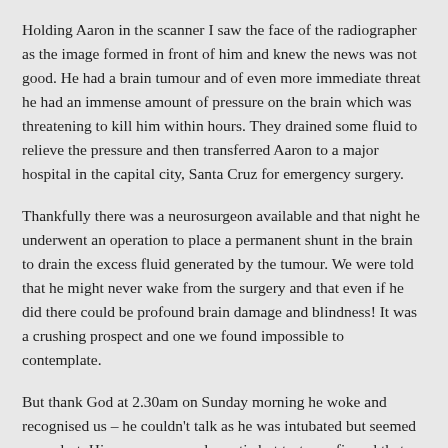Holding Aaron in the scanner I saw the face of the radiographer as the image formed in front of him and knew the news was not good. He had a brain tumour and of even more immediate threat he had an immense amount of pressure on the brain which was threatening to kill him within hours. They drained some fluid to relieve the pressure and then transferred Aaron to a major hospital in the capital city, Santa Cruz for emergency surgery.
Thankfully there was a neurosurgeon available and that night he underwent an operation to place a permanent shunt in the brain to drain the excess fluid generated by the tumour. We were told that he might never wake from the surgery and that even if he did there could be profound brain damage and blindness! It was a crushing prospect and one we found impossible to contemplate.
But thank God at 2.30am on Sunday morning he woke and recognised us – he couldn't talk as he was intubated but seemed very alert. His recovery was dramatic but tests confirmed that more surgery was essential and so we eventually transferred back to Ireland with an ICU nurse and a family friend who had come out to support us. In the early hours of Wednesday 20th July we arrived in the children's neurosurgical ward in Beaumont hospital in Dublin. Surgery quickly followed that Friday and as I write we are finally home with